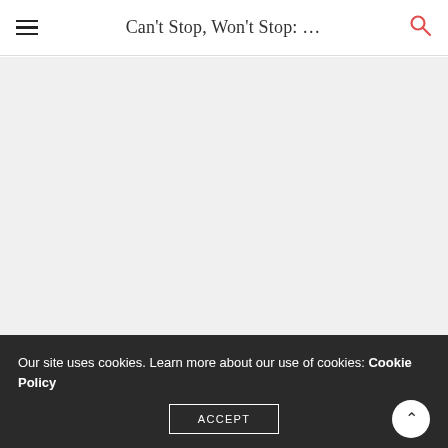Can't Stop, Won't Stop: …
[Figure (photo): White/blank image area representing a photo placeholder]
Tanja, 6 weeks pregnant at the Chicago Marathon
On facing misconceptions:
Our site uses cookies. Learn more about our use of cookies: Cookie Policy
ACCEPT